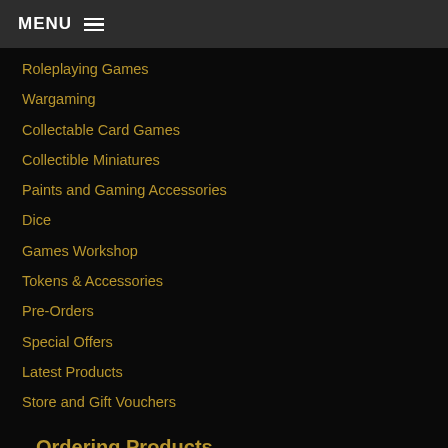MENU ≡
Roleplaying Games
Wargaming
Collectable Card Games
Collectible Miniatures
Paints and Gaming Accessories
Dice
Games Workshop
Tokens & Accessories
Pre-Orders
Special Offers
Latest Products
Store and Gift Vouchers
Ordering Products
Payment Methods
In Store Collections
Delivery Policy
International Delivery Policy
Returns Policy
Preorders